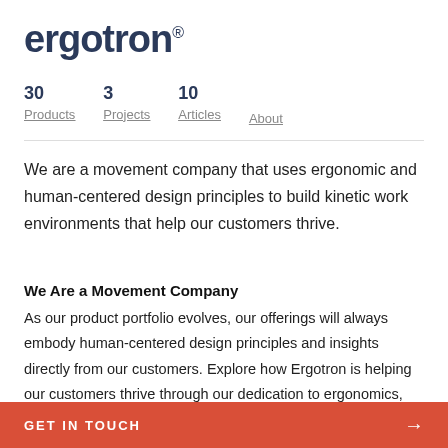ergotron®
30 Products
3 Projects
10 Articles
About
We are a movement company that uses ergonomic and human-centered design principles to build kinetic work environments that help our customers thrive.
We Are a Movement Company
As our product portfolio evolves, our offerings will always embody human-centered design principles and insights directly from our customers. Explore how Ergotron is helping our customers thrive through our dedication to ergonomics, quality solutions and minimizing our environmental impact.
GET IN TOUCH →